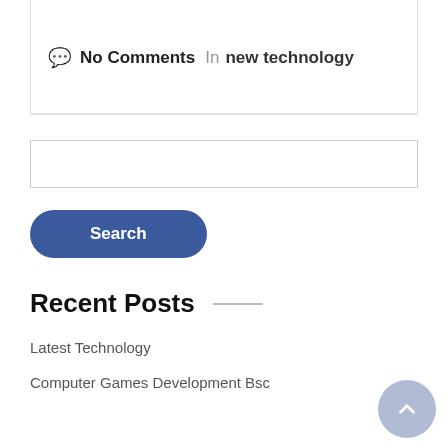No Comments  In  new technology
[Figure (other): Empty search input box]
Search
Recent Posts
Latest Technology
Computer Games Development Bsc